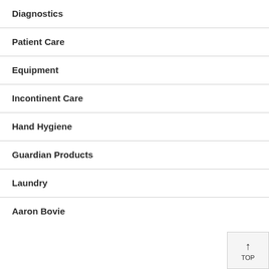Diagnostics
Patient Care
Equipment
Incontinent Care
Hand Hygiene
Guardian Products
Laundry
Aaron Bovie